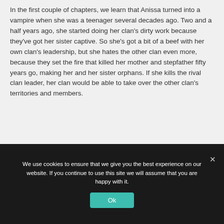In the first couple of chapters, we learn that Anissa turned into a vampire when she was a teenager several decades ago. Two and a half years ago, she started doing her clan's dirty work because they've got her sister captive. So she's got a bit of a beef with her own clan's leadership, but she hates the other clan even more, because they set the fire that killed her mother and stepfather fifty years go, making her and her sister orphans. If she kills the rival clan leader, her clan would be able to take over the other clan's territories and members.
We use cookies to ensure that we give you the best experience on our website. If you continue to use this site we will assume that you are happy with it.